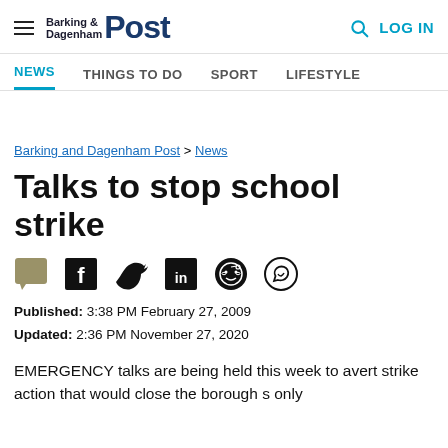Barking & Dagenham Post | NEWS | THINGS TO DO | SPORT | LIFESTYLE | LOG IN
Barking and Dagenham Post > News
Talks to stop school strike
Published: 3:38 PM February 27, 2009
Updated: 2:36 PM November 27, 2020
EMERGENCY talks are being held this week to avert strike action that would close the borough s only